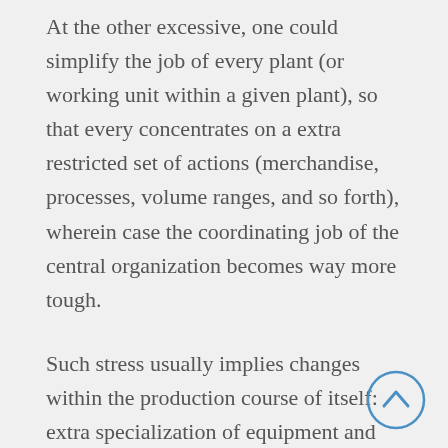At the other excessive, one could simplify the job of every plant (or working unit within a given plant), so that every concentrates on a extra restricted set of actions (merchandise, processes, volume ranges, and so forth), wherein case the coordinating job of the central organization becomes way more tough.
Such stress usually implies changes within the production course of itself: extra specialization of equipment and tasks, an growing ratio of capital to labor expenses, a more standard and inflexible movement of the product by the method. The most important challenge in every business is to successfully start the enterprise which required